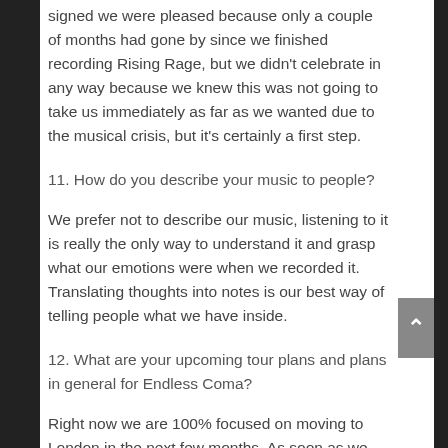signed we were pleased because only a couple of months had gone by since we finished recording Rising Rage, but we didn't celebrate in any way because we knew this was not going to take us immediately as far as we wanted due to the musical crisis, but it's certainly a first step.
11. How do you describe your music to people?
We prefer not to describe our music, listening to it is really the only way to understand it and grasp what our emotions were when we recorded it. Translating thoughts into notes is our best way of telling people what we have inside.
12. What are your upcoming tour plans and plans in general for Endless Coma?
Right now we are 100% focused on moving to London in the next few months. As soon as we get settled there